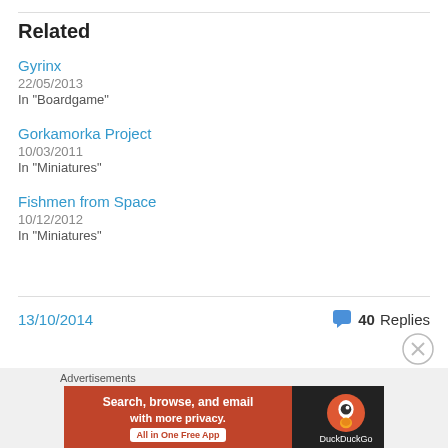Related
Gyrinx
22/05/2013
In "Boardgame"
Gorkamorka Project
10/03/2011
In "Miniatures"
Fishmen from Space
10/12/2012
In "Miniatures"
13/10/2014
40 Replies
Advertisements
[Figure (screenshot): DuckDuckGo advertisement banner: 'Search, browse, and email with more privacy. All in One Free App' with DuckDuckGo logo on dark background]